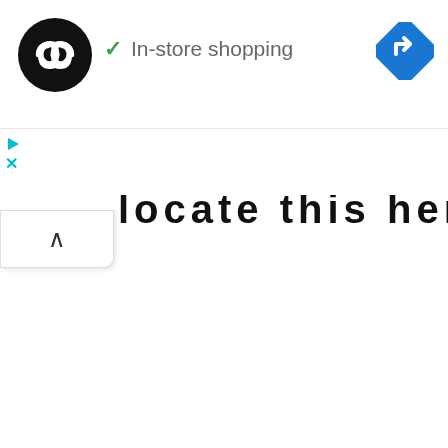[Figure (logo): Black circle logo with two overlapping arrow/infinity style symbols in white]
✓ In-store shopping
[Figure (other): Blue diamond navigation/directions icon with white right-turn arrow]
▷ (play icon, cyan)
× (close icon, cyan)
locate this here (partially visible, bold large text, cropped at top)
[Figure (other): White collapse/chevron-up button panel]